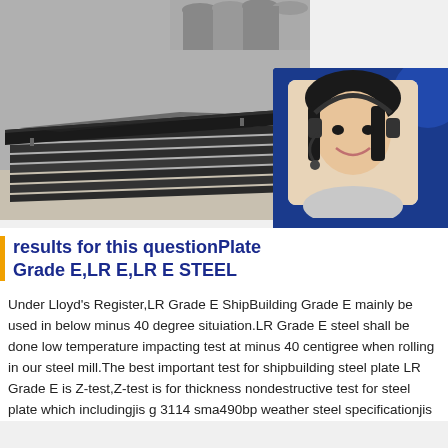[Figure (photo): Stack of dark steel plates in a warehouse/yard setting, with metal pipes visible in the background.]
[Figure (photo): Customer service chat widget with a smiling woman wearing a headset on a dark blue background, showing contact information.]
results for this questionPlate Grade E,LR E,LR E STEEL
Under Lloyd's Register,LR Grade E ShipBuilding Grade E mainly be used in below minus 40 degree situiation.LR Grade E steel shall be done low temperature impacting test at minus 40 centigree when rolling in our steel mill.The best important test for shipbuilding steel plate LR Grade E is Z-test,Z-test is for thickness nondestructive test for steel plate which includingjis g 3114 sma490bp weather steel specificationjis